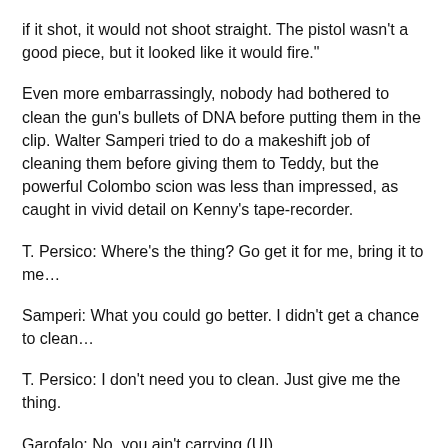if it shot, it would not shoot straight. The pistol wasn't a good piece, but it looked like it would fire."
Even more embarrassingly, nobody had bothered to clean the gun's bullets of DNA before putting them in the clip. Walter Samperi tried to do a makeshift job of cleaning them before giving them to Teddy, but the powerful Colombo scion was less than impressed, as caught in vivid detail on Kenny's tape-recorder.
T. Persico: Where's the thing? Go get it for me, bring it to me…
Samperi: What you could go better. I didn't get a chance to clean…
T. Persico: I don't need you to clean. Just give me the thing.
Garofalo: No, you ain't carrying (UI)